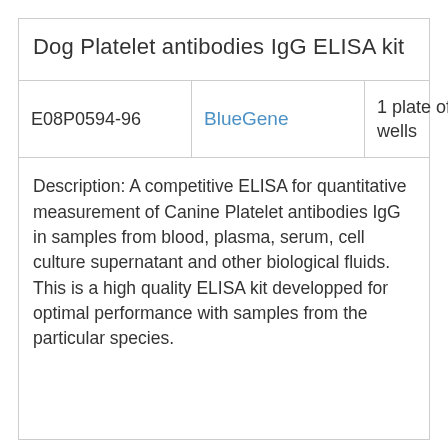Dog Platelet antibodies IgG ELISA kit
|  |  |  |  |
| --- | --- | --- | --- |
| E08P0594-96 | BlueGene | 1 plate of 96 wells | EUR 685 |
Description: A competitive ELISA for quantitative measurement of Canine Platelet antibodies IgG in samples from blood, plasma, serum, cell culture supernatant and other biological fluids. This is a high quality ELISA kit developped for optimal performance with samples from the particular species.